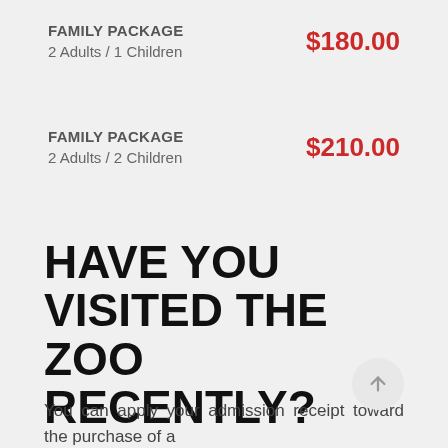FAMILY PACKAGE
2 Adults / 1 Children
$180.00
FAMILY PACKAGE
2 Adults / 2 Children
$210.00
HAVE YOU VISITED THE ZOO RECENTLY?
You can apply your admission receipt toward the purchase of a